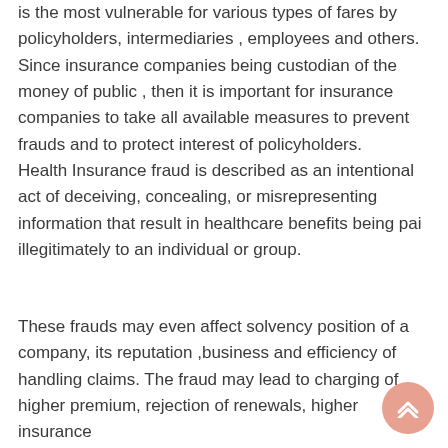is the most vulnerable for various types of fares by policyholders, intermediaries , employees and others. Since insurance companies being custodian of the money of public , then it is important for insurance companies to take all available measures to prevent frauds and to protect interest of policyholders.
Health Insurance fraud is described as an intentional act of deceiving, concealing, or misrepresenting information that result in healthcare benefits being pai illegitimately to an individual or group.
These frauds may even affect solvency position of a company, its reputation ,business and efficiency of handling claims. The fraud may lead to charging of higher premium, rejection of renewals, higher insurance